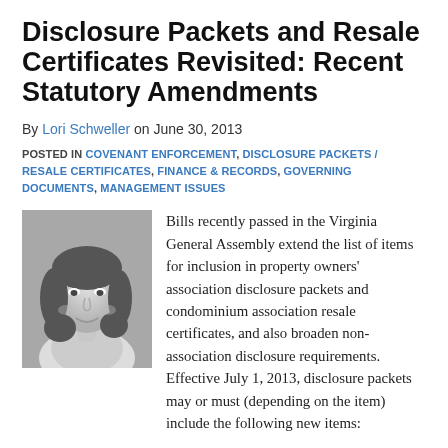Disclosure Packets and Resale Certificates Revisited: Recent Statutory Amendments
By Lori Schweller on June 30, 2013
POSTED IN COVENANT ENFORCEMENT, DISCLOSURE PACKETS / RESALE CERTIFICATES, FINANCE & RECORDS, GOVERNING DOCUMENTS, MANAGEMENT ISSUES
[Figure (photo): Black and white headshot photo of Lori Schweller, a woman with long dark hair, smiling]
Bills recently passed in the Virginia General Assembly extend the list of items for inclusion in property owners' association disclosure packets and condominium association resale certificates, and also broaden non-association disclosure requirements.    Effective July 1, 2013, disclosure packets may or must (depending on the item) include the following new items: